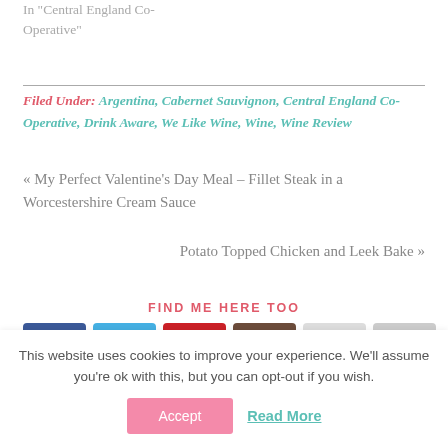In "Central England Co-Operative"
Filed Under: Argentina, Cabernet Sauvignon, Central England Co-Operative, Drink Aware, We Like Wine, Wine, Wine Review
« My Perfect Valentine's Day Meal – Fillet Steak in a Worcestershire Cream Sauce
Potato Topped Chicken and Leek Bake »
FIND ME HERE TOO
[Figure (infographic): Social media icons: Facebook, Twitter, Pinterest, Instagram, Flickr, Email]
This website uses cookies to improve your experience. We'll assume you're ok with this, but you can opt-out if you wish.
Accept   Read More